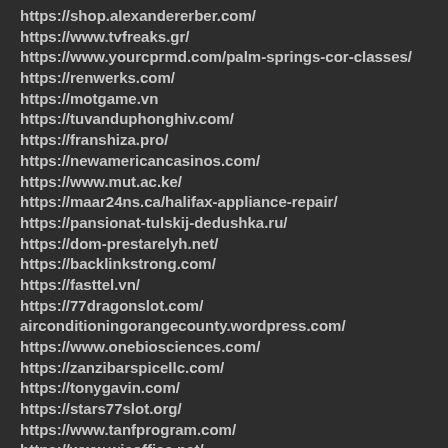https://shop.alexandererber.com/
https://www.tvfreaks.gr/
https://www.yourcprmd.com/palm-springs-cor-classes/
https://renwerks.com/
https://motgame.vn
https://tuvanduphonghiv.com/
https://franshiza.pro/
https://newamericancasinos.com/
https://www.mut.ac.ke/
https://maar24ns.ca/halifax-appliance-repair/
https://pansionat-tulskij-dedushka.ru/
https://dom-prestarelyh.net/
https://backlinkstrong.com/
https://fasttel.vn/
https://77dragonslot.com/
airconditioningorangecounty.wordpress.com/
https://www.onebiosciences.com/
https://zanzibarspicellc.com/
https://tonygavin.com/
https://stars77slot.org/
https://www.tanfprogram.com/
https://www.wicoffice.net/
http://ineedstamps.today/